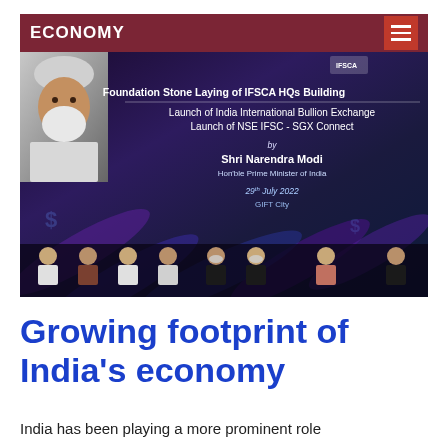ECONOMY
[Figure (photo): Photo from an official event: Foundation Stone Laying of IFSCA HQs Building, Launch of India International Bullion Exchange, Launch of NSE IFSC - SGX Connect, by Shri Narendra Modi, Hon'ble Prime Minister of India, 29th July 2022, GIFT City. Several dignitaries seated at a dais in front of a large backdrop screen.]
Growing footprint of India's economy
India has been playing a more prominent role